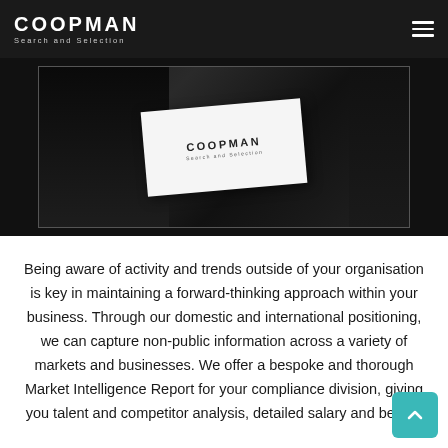COOPMAN Search and Selection
[Figure (photo): Coopman Search and Selection business card placed on a dark reflective surface with black objects in background]
Being aware of activity and trends outside of your organisation is key in maintaining a forward-thinking approach within your business. Through our domestic and international positioning, we can capture non-public information across a variety of markets and businesses. We offer a bespoke and thorough Market Intelligence Report for your compliance division, giving you talent and competitor analysis, detailed salary and benefit